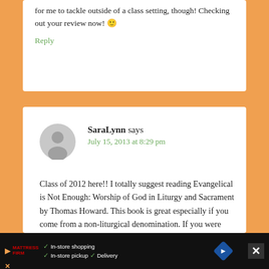for me to tackle outside of a class setting, though! Checking out your review now! 🙂
Reply
SaraLynn says
July 15, 2013 at 8:29 pm
Class of 2012 here!! I totally suggest reading Evangelical is Not Enough: Worship of God in Liturgy and Sacrament by Thomas Howard. This book is great especially if you come from a non-liturgical denomination. If you were raised
In-store shopping  In-store pickup  Delivery